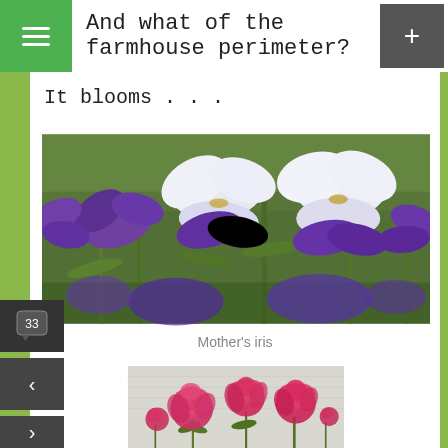And what of the farmhouse perimeter?
It blooms . . .
[Figure (photo): Close-up photograph of white and purple bearded iris flowers in bloom against a green background]
Mother's iris
[Figure (photo): Photograph of bright pink/magenta peony flowers in bloom against a light background]